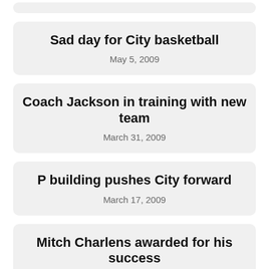Sad day for City basketball
May 5, 2009
Coach Jackson in training with new team
March 31, 2009
P building pushes City forward
March 17, 2009
Mitch Charlens awarded for his success
March 17, 2009